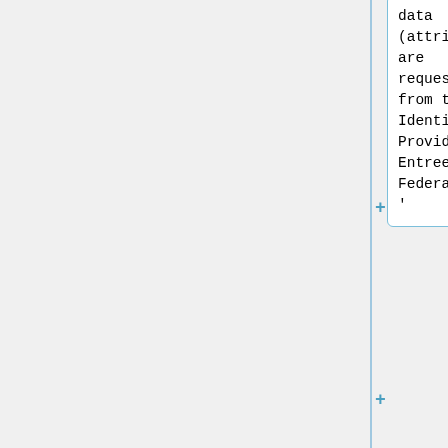data (attributes) are requested from the Identity Provider by Entree Federation'''.
#*This step is unique for our Reference ELE, because of the possibility to enter dummy data. Normally the user